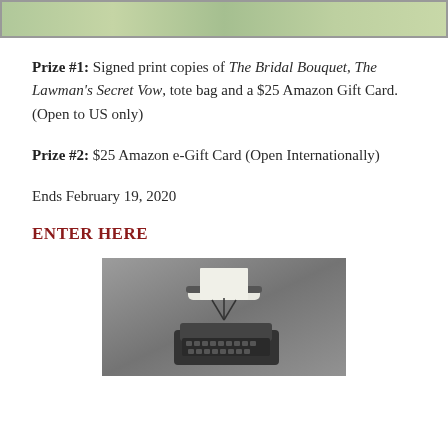[Figure (photo): Top banner image, appears to be a nature or book cover image with green/muted tones]
Prize #1: Signed print copies of The Bridal Bouquet, The Lawman's Secret Vow, tote bag and a $25 Amazon Gift Card. (Open to US only)
Prize #2: $25 Amazon e-Gift Card (Open Internationally)
Ends February 19, 2020
ENTER HERE
[Figure (photo): Black and white photo of a vintage typewriter]